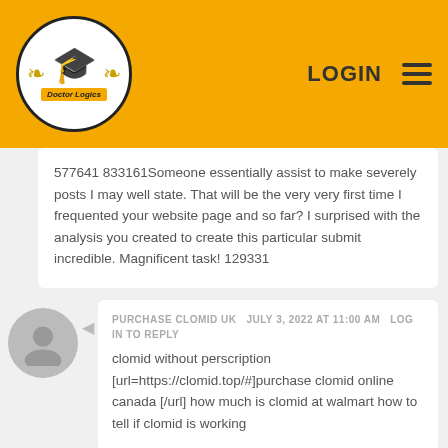[Figure (logo): Doctor Logics logo: graduation cap inside oval with laurel wreath and banner]
LOGIN
577641 833161Someone essentially assist to make severely posts I may well state. That will be the very very first time I frequented your website page and so far? I surprised with the analysis you created to create this particular submit incredible. Magnificent task! 129331
PURCHASE CLOMID UK   JULY 3, 2022 AT 11:00 AM   LOG IN TO REPLY
clomid without perscription [url=https://clomid.top/#]purchase clomid online canada [/url] how much is clomid at walmart how to tell if clomid is working